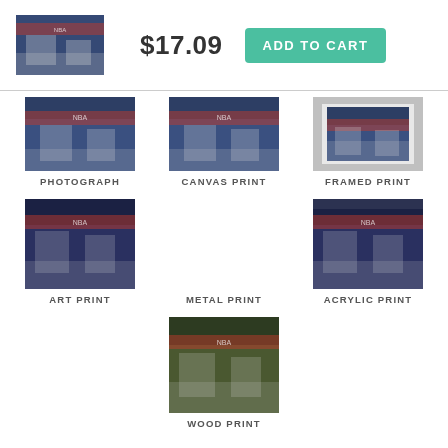[Figure (photo): Basketball game thumbnail image, main product photo]
$17.09
ADD TO CART
[Figure (photo): Basketball game photo - PHOTOGRAPH product option]
PHOTOGRAPH
[Figure (photo): Basketball game photo - CANVAS PRINT product option]
CANVAS PRINT
[Figure (photo): Basketball game photo - FRAMED PRINT product option]
FRAMED PRINT
[Figure (photo): Basketball game photo - ART PRINT product option]
ART PRINT
METAL PRINT
[Figure (photo): Basketball game photo - ACRYLIC PRINT product option]
ACRYLIC PRINT
[Figure (photo): Basketball game photo - WOOD PRINT product option]
WOOD PRINT